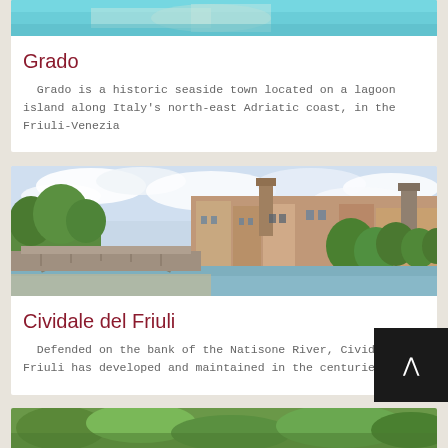[Figure (photo): Aerial or satellite view of Grado, a lagoon island town on Italy's Adriatic coast — cropped top portion showing teal/blue water]
Grado
Grado is a historic seaside town located on a lagoon island along Italy's north-east Adriatic coast, in the Friuli-Venezia
[Figure (photo): Photograph of Cividale del Friuli showing a stone arch bridge over the Natisone River, with the historic town buildings and a bell tower visible on the hillside, surrounded by green trees under a cloudy sky]
Cividale del Friuli
Defended on the bank of the Natisone River, Cividale del Friuli has developed and maintained in the centuries a
[Figure (photo): Partial view of another location — green landscape, bottom strip of image visible]